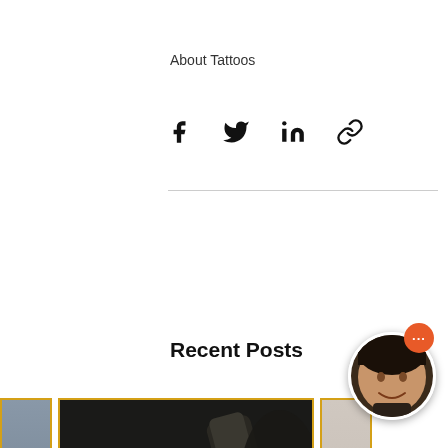About Tattoos
[Figure (infographic): Social sharing icons: Facebook, Twitter, LinkedIn, and link/chain icon]
Recent Posts
See All
[Figure (photo): Partial view of a card showing a person's arm — left edge visible]
[Figure (photo): Center card with a photo of a tattoo artist in black gloves using a tattoo machine on a client's wrist, along with the article title 'Realism Tattoos: What They Are and Why...']
[Figure (photo): Partial view of a third card — right edge visible, light background]
Realism Tattoos: What They Are and Why…